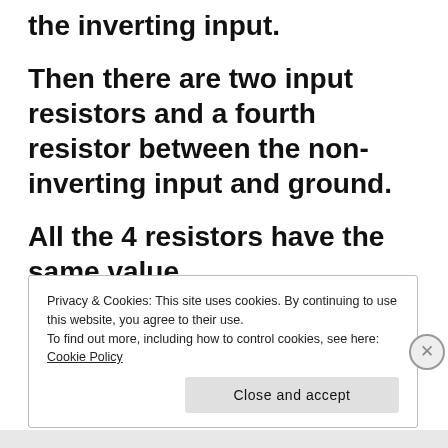the inverting input.
Then there are two input resistors and a fourth resistor between the non-inverting input and ground.
All the 4 resistors have the same value.
Privacy & Cookies: This site uses cookies. By continuing to use this website, you agree to their use.
To find out more, including how to control cookies, see here:
Cookie Policy
Close and accept